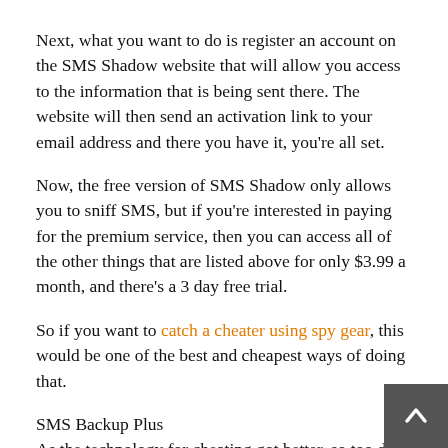Next, what you want to do is register an account on the SMS Shadow website that will allow you access to the information that is being sent there. The website will then send an activation link to your email address and there you have it, you're all set.
Now, the free version of SMS Shadow only allows you to sniff SMS, but if you're interested in paying for the premium service, then you can access all of the other things that are listed above for only $3.99 a month, and there's a 3 day free trial.
So if you want to catch a cheater using spy gear, this would be one of the best and cheapest ways of doing that.
SMS Backup Plus
As the technology for cheating got better, so too did the apps to catch a cheater using spy gear. In fact, some of these applications have NSA quality functionality and are fairly simply to install depending on your level of expertise. A program like SMS Backup Plus requires that you know how to root a phone. As far as cheating spy gear goes, this is fairly invasive. Firstly, rooting a